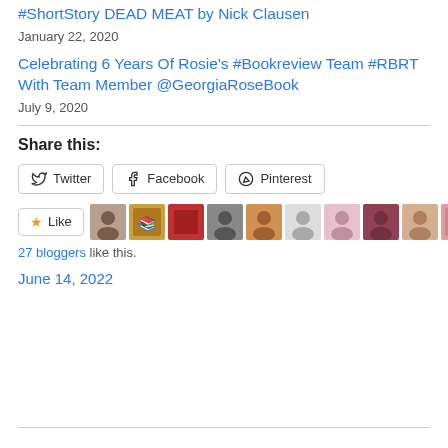Rosie's #Bookreview Team #RBRT #Apocalypse #ShortStory DEAD MEAT by Nick Clausen
January 22, 2020
Celebrating 6 Years Of Rosie's #Bookreview Team #RBRT With Team Member @GeorgiaRoseBook
July 9, 2020
Share this:
Twitter Facebook Pinterest
[Figure (other): Like button with star icon and 10 blogger avatars]
27 bloggers like this.
June 14, 2022